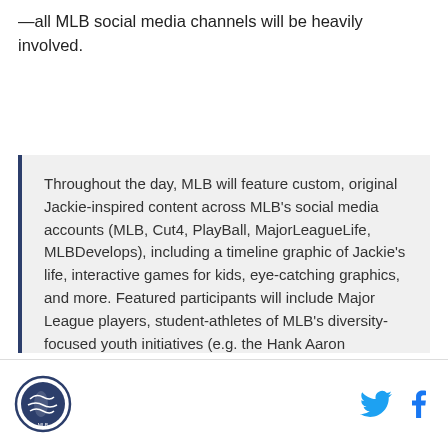—all MLB social media channels will be heavily involved.
Throughout the day, MLB will feature custom, original Jackie-inspired content across MLB's social media accounts (MLB, Cut4, PlayBall, MajorLeagueLife, MLBDevelops), including a timeline graphic of Jackie's life, interactive games for kids, eye-catching graphics, and more. Featured participants will include Major League players, student-athletes of MLB's diversity-focused youth initiatives (e.g. the Hank Aaron Invitational, Reviving Baseball in Inner Cities, MLB Youth Academy, Trailblazer Series), and more.
MLB logo and social media icons (Twitter, Facebook)